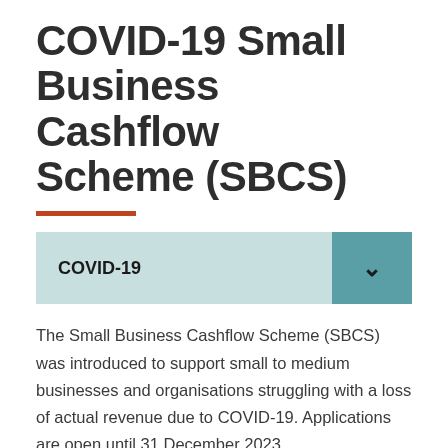COVID-19 Small Business Cashflow Scheme (SBCS)
COVID-19
The Small Business Cashflow Scheme (SBCS) was introduced to support small to medium businesses and organisations struggling with a loss of actual revenue due to COVID-19. Applications are open until 31 December 2023.
We will administer the payments and